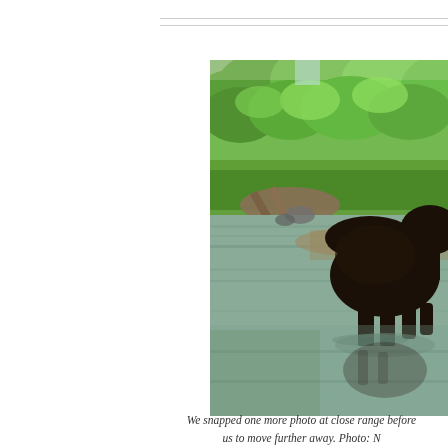[Figure (photo): A moose standing in shallow water with lush green vegetation and trees in the background. The moose is dark brown/black and is facing away from the camera. The water reflects the surrounding greenery.]
We snapped one more photo at close range before our guide urged us to move further away. Photo: N...